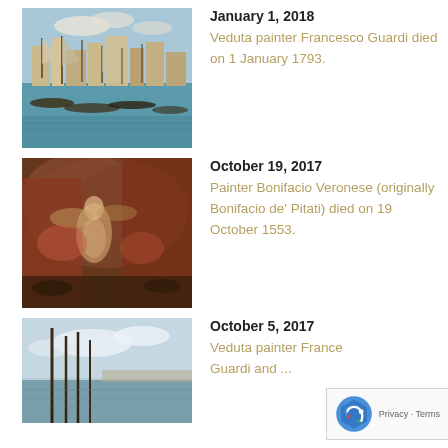January 1, 2018
Veduta painter Francesco Guardi died on 1 January 1793.
[Figure (photo): Painting of Venice harbor with boats and buildings]
October 19, 2017
Painter Bonifacio Veronese (originally Bonifacio de' Pitati) died on 19 October 1553.
[Figure (photo): Baroque painting with angel figures in dramatic clouds]
October 5, 2017
Veduta painter France...
[Figure (photo): Painting of water/lagoon scene with poles]